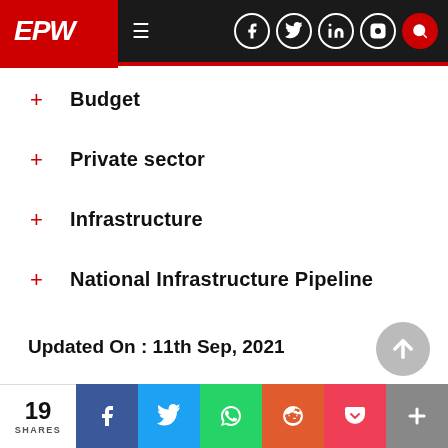EPW
Budget
Private sector
Infrastructure
National Infrastructure Pipeline
Updated On : 11th Sep, 2021
19 SHARES